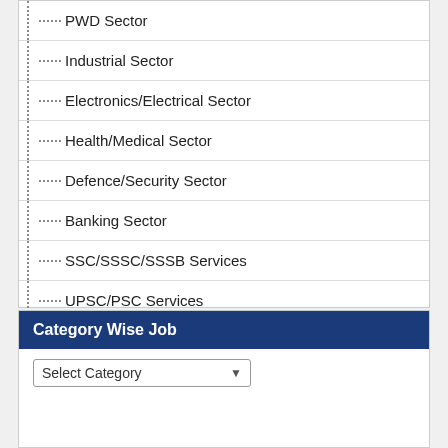PWD Sector
Industrial Sector
Electronics/Electrical Sector
Health/Medical Sector
Defence/Security Sector
Banking Sector
SSC/SSSC/SSSB Services
UPSC/PSC Services
Engineering Sector
Education Sector
Agriculture Sector
Category Wise Job
Select Category